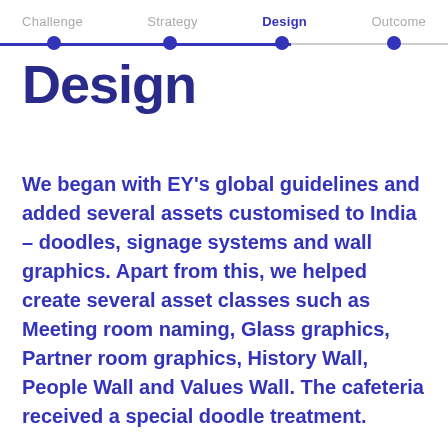Challenge    Strategy    Design    Outcome
Design
We began with EY's global guidelines and added several assets customised to India – doodles, signage systems and wall graphics. Apart from this, we helped create several asset classes such as Meeting room naming, Glass graphics, Partner room graphics, History Wall, People Wall and Values Wall. The cafeteria received a special doodle treatment.